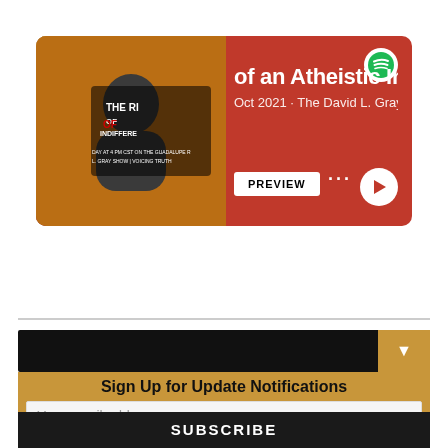[Figure (screenshot): Spotify podcast player card showing 'The Rise of an Atheistic Indifference' podcast episode, Oct 2021, The David L. Gray Catholic [show], with preview button and play controls on red background]
[Figure (screenshot): HTML5 audio player showing time 0:00 / 52:37 with progress bar, volume and more-options icons on light grey rounded background]
Sign Up for Update Notifications
Your email address..
SUBSCRIBE